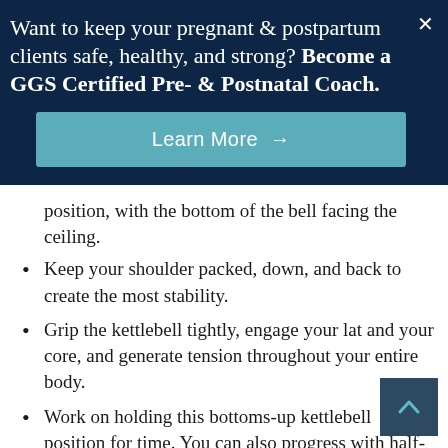Want to keep your pregnant & postpartum clients safe, healthy, and strong? Become a GGS Certified Pre- & Postnatal Coach.
Learn More →
position, with the bottom of the bell facing the ceiling.
Keep your shoulder packed, down, and back to create the most stability.
Grip the kettlebell tightly, engage your lat and your core, and generate tension throughout your entire body.
Work on holding this bottoms-up kettlebell position for time. You can also progress with half-kneeling holds and bottoms-up presses.